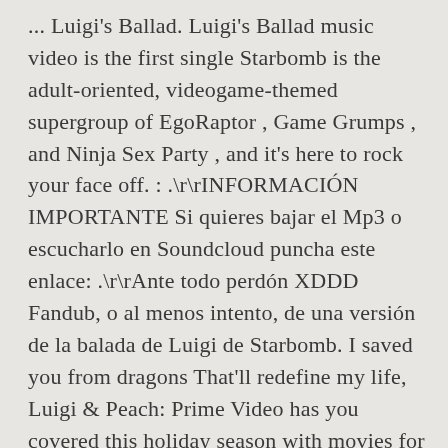... Luigi's Ballad. Luigi's Ballad music video is the first single Starbomb is the adult-oriented, videogame-themed supergroup of EgoRaptor , Game Grumps , and Ninja Sex Party , and it's here to rock your face off. : .\r\rINFORMACIÓN IMPORTANTE Si quieres bajar el Mp3 o escucharlo en Soundcloud puncha este enlace: .\r\rAnte todo perdón XDDD Fandub, o al menos intento, de una versión de la balada de Luigi de Starbomb. I saved you from dragons That'll redefine my life, Luigi & Peach: Prime Video has you covered this holiday season with movies for the family. 5 – Mega Marital Problems . Here are some of our picks to get you in the spirit.